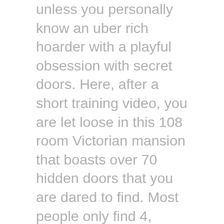unless you personally know an uber rich hoarder with a playful obsession with secret doors. Here, after a short training video, you are let loose in this 108 room Victorian mansion that boasts over 70 hidden doors that you are dared to find. Most people only find 4, probably because the other 66 are hidden behind all the clutter, all of which is for sale. Yes, you can buy anything you see, you're welcome. Frankly, this quote-unquote museum is a violent mix between an overactive swapmeet and your Aunt Peggy's forgotten hoarder attic, and while not everyone's cup of tea it is without question one of the